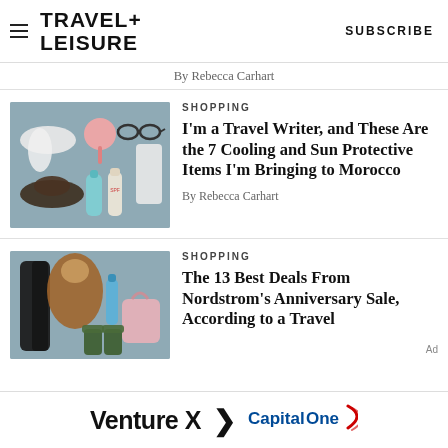TRAVEL+ LEISURE | SUBSCRIBE
By Rebecca Carhart
SHOPPING
[Figure (photo): Flatlay of cooling and sun protective travel items on a blue-grey background: white scarf, pink handheld fan, sunglasses, white trousers, dark hat, teal water bottle, skincare products]
I'm a Travel Writer, and These Are the 7 Cooling and Sun Protective Items I'm Bringing to Morocco
By Rebecca Carhart
SHOPPING
[Figure (photo): Collage of clothing and travel items for Nordstrom Anniversary Sale: black leather-look leggings, brown wrap, blue water bottle, pink tote bag, dark green rain boots on grey-blue background]
The 13 Best Deals From Nordstrom's Anniversary Sale, According to a Travel
[Figure (infographic): Capital One Venture X advertisement banner: 'Venture X > Capital One']